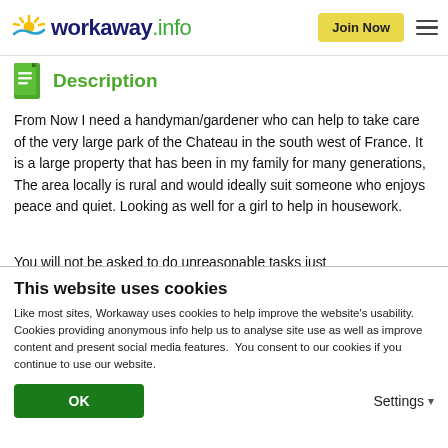workaway.info — Join Now
Description
From Now I need a handyman/gardener who can help to take care of the very large park of the Chateau in the south west of France. It is a large property that has been in my family for many generations, The area locally is rural and would ideally suit someone who enjoys peace and quiet. Looking as well for a girl to help in housework.
You will not be asked to do unreasonable tasks just
This website uses cookies
Like most sites, Workaway uses cookies to help improve the website's usability. Cookies providing anonymous info help us to analyse site use as well as improve content and present social media features.  You consent to our cookies if you continue to use our website.
OK   Settings